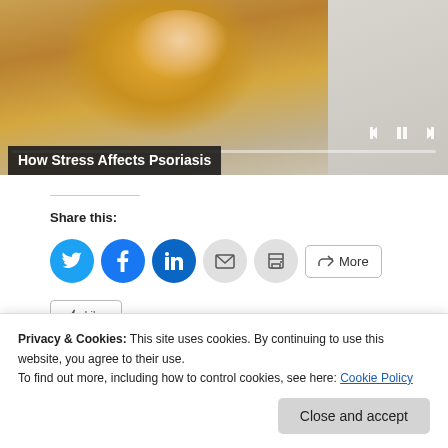[Figure (photo): Video player showing a person in a yellow sweater sitting on a couch, with media controls visible. Title overlay reads 'How Stress Affects Psoriasis'.]
Share this:
[Figure (screenshot): Row of social share buttons: Twitter (blue circle), Facebook (blue circle), LinkedIn (blue circle), Email (grey circle), Print (grey circle), and a 'More' button with share icon.]
Privacy & Cookies: This site uses cookies. By continuing to use this website, you agree to their use.
To find out more, including how to control cookies, see here: Cookie Policy
Close and accept